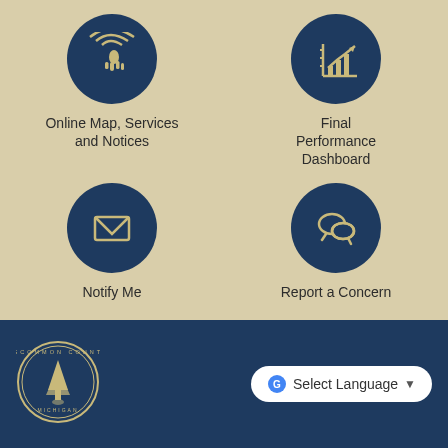[Figure (infographic): Dark navy circle icon with a hand/cursor touching concentric circles (online map/services icon)]
Online Map, Services and Notices
[Figure (infographic): Dark navy circle icon with a bar chart and upward trending arrow (performance dashboard icon)]
Final Performance Dashboard
[Figure (infographic): Dark navy circle icon with an envelope (notify me icon)]
Notify Me
[Figure (infographic): Dark navy circle icon with two speech/chat bubbles (report a concern icon)]
Report a Concern
[Figure (logo): Osceola County Michigan circular seal logo]
Select Language